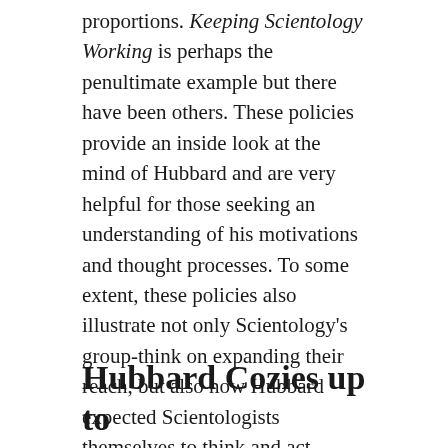proportions. Keeping Scientology Working is perhaps the penultimate example but there have been others. These policies provide an inside look at the mind of Hubbard and are very helpful for those seeking an understanding of his motivations and thought processes. To some extent, these policies also illustrate not only Scientology's group-think on expanding their reach, but also how Hubbard expected Scientologists themselves to think and act.
Continue reading
Jeff Wasel, Ph. D. / March 11, 2018 / Uncategorized / 5 Comments
Hubbard Cozies up to